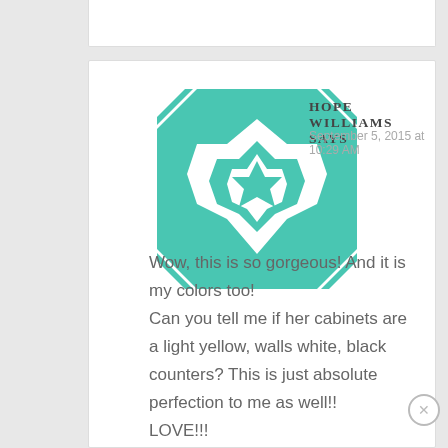[Figure (illustration): Teal/turquoise geometric star/quilt pattern avatar icon]
HOPE WILLIAMS SAYS
September 5, 2015 at 10:29 AM
Wow, this is so gorgeous! And it is my colors too!
Can you tell me if her cabinets are a light yellow, walls white, black counters? This is just absolute perfection to me as well!
LOVE!!!